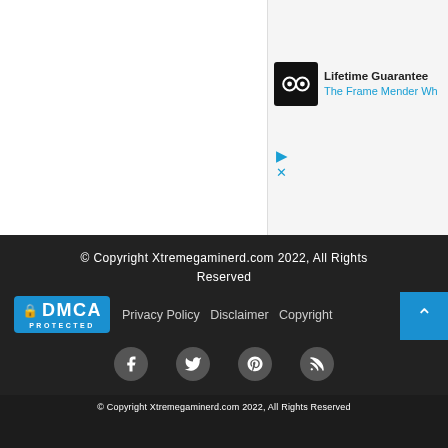[Figure (screenshot): Advertisement banner for 'Lifetime Guarantee - The Frame Mender Wh...' with glasses logo icon and cyan/blue text]
gram and is supported by the readers. The qualifying purchase you make through our links may get us some commission and doesn't cost you an extra penny.
© Copyright Xtremegaminerd.com 2022, All Rights Reserved
[Figure (logo): DMCA Protected badge in blue]
Privacy Policy Disclaimer Copyright
[Figure (infographic): Social media icons: Facebook, Twitter, Pinterest, RSS feed in dark footer]
[Figure (infographic): Bottom share bar with Facebook, Twitter, WhatsApp, Telegram icons]